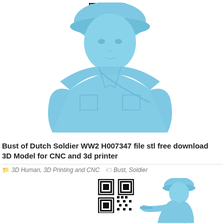[Figure (photo): 3D rendered blue/light-blue bust model of a Dutch WW2 soldier wearing a helmet, viewed from front-slightly-above angle. A QR code appears in the upper-left area of the image.]
Bust of Dutch Soldier WW2 H007347 file stl free download 3D Model for CNC and 3d printer
3D Human, 3D Printing and CNC   Bust, Soldier
[Figure (photo): 3D rendered blue/light-blue model of a soldier in a crouching/aiming pose wearing a helmet, holding a rifle. A QR code appears to the left of the figure.]